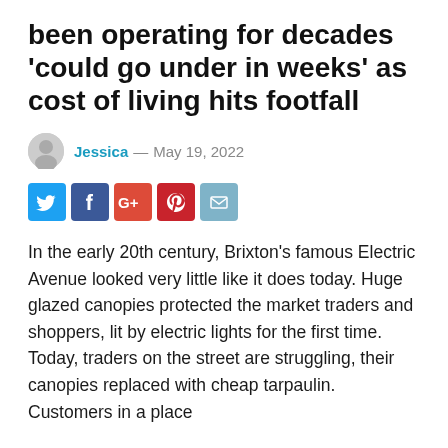been operating for decades 'could go under in weeks' as cost of living hits footfall
Jessica — May 19, 2022
[Figure (infographic): Row of social media sharing icons: Twitter (blue), Facebook (dark blue), Google+ (red-orange), Pinterest (red), Email (light blue)]
In the early 20th century, Brixton's famous Electric Avenue looked very little like it does today. Huge glazed canopies protected the market traders and shoppers, lit by electric lights for the first time. Today, traders on the street are struggling, their canopies replaced with cheap tarpaulin. Customers in a place